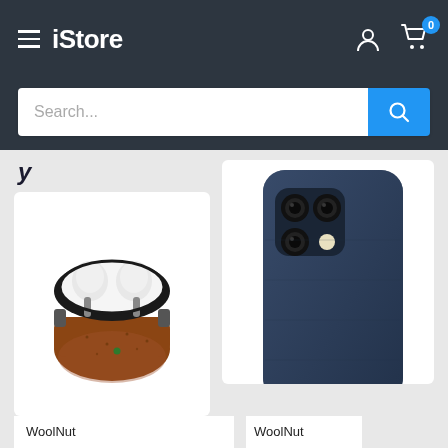iStore — navigation header with hamburger menu, logo, user icon, cart icon (0 items)
Search...
y
[Figure (photo): Brown leather AirPods Pro case with lid open, showing white earbuds inside. Product by WoolNut.]
WoolNut
[Figure (photo): Dark navy blue leather iPhone 12 Pro case showing rear triple-camera cutout. Product by WoolNut.]
WoolNut